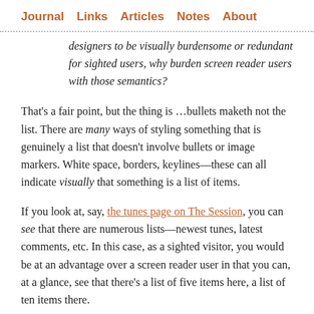Journal  Links  Articles  Notes  About
designers to be visually burdensome or redundant for sighted users, why burden screen reader users with those semantics?
That's a fair point, but the thing is …bullets maketh not the list. There are many ways of styling something that is genuinely a list that doesn't involve bullets or image markers. White space, borders, keylines—these can all indicate visually that something is a list of items.
If you look at, say, the tunes page on The Session, you can see that there are numerous lists—newest tunes, latest comments, etc. In this case, as a sighted visitor, you would be at an advantage over a screen reader user in that you can, at a glance, see that there's a list of five items here, a list of ten items there.